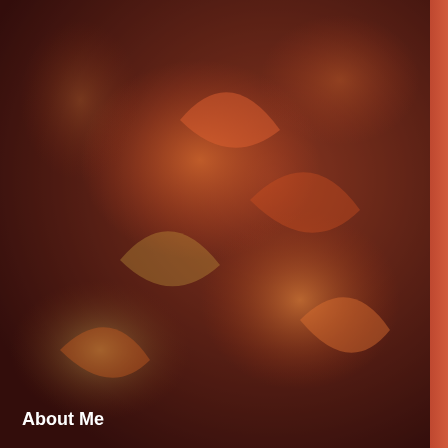[Figure (illustration): Abstract floral/watercolor artwork in deep reds, oranges, and browns serving as a sidebar background image. A vertical reddish-orange bar divides the artwork from the white content area.]
path for yourself that will lead... Pull your attention away from... the voice of your intuition to co...
Angel Number 2927 can also... study or pursue an avenue of...
Number 2927 relates to number 2 (2+9+2...
*
Joanne
Sacred Scribes
NUMEROLOGY - The Vibration and En...
Posted by Joanne Sacred Scribes at 4:10...
Labels: 2927 angel number, 2927 meanin... meaning of 2927, number 2927, repeatin... spirit numbers, spiritual meaning of 2927...
About Me